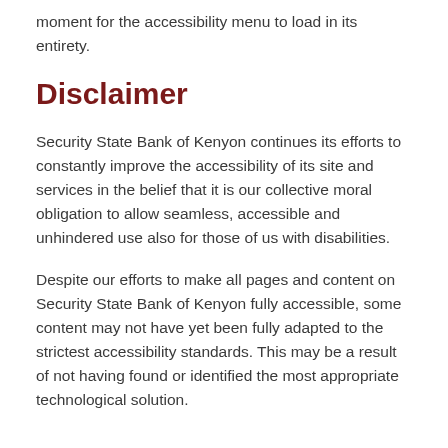moment for the accessibility menu to load in its entirety.
Disclaimer
Security State Bank of Kenyon continues its efforts to constantly improve the accessibility of its site and services in the belief that it is our collective moral obligation to allow seamless, accessible and unhindered use also for those of us with disabilities.
Despite our efforts to make all pages and content on Security State Bank of Kenyon fully accessible, some content may not have yet been fully adapted to the strictest accessibility standards. This may be a result of not having found or identified the most appropriate technological solution.